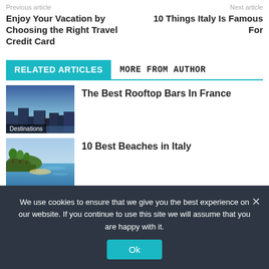Previous article   Next article
Enjoy Your Vacation by Choosing the Right Travel Credit Card
10 Things Italy Is Famous For
RELATED ARTICLES   MORE FROM AUTHOR
[Figure (photo): Aerial city view at dusk with blue sky, labeled Destinations]
The Best Rooftop Bars In France
[Figure (photo): Coastal landscape with trees and sea]
10 Best Beaches in Italy
We use cookies to ensure that we give you the best experience on our website. If you continue to use this site we will assume that you are happy with it.